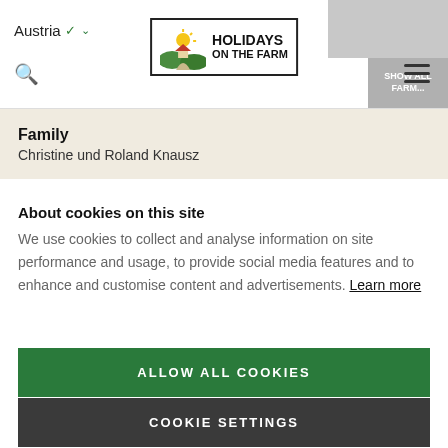Austria ▾
[Figure (logo): Holidays on the Farm logo with illustrated farm scene, sun and hills inside a rectangular border]
Family
Christine und Roland Knausz
About cookies on this site
We use cookies to collect and analyse information on site performance and usage, to provide social media features and to enhance and customise content and advertisements. Learn more
ALLOW ALL COOKIES
COOKIE SETTINGS